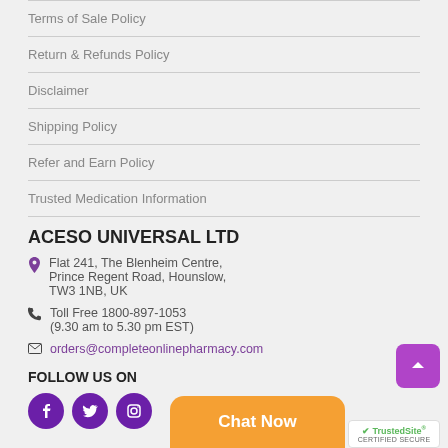Terms of Sale Policy
Return & Refunds Policy
Disclaimer
Shipping Policy
Refer and Earn Policy
Trusted Medication Information
ACESO UNIVERSAL LTD
Flat 241, The Blenheim Centre, Prince Regent Road, Hounslow, TW3 1NB, UK
Toll Free 1800-897-1053 (9.30 am to 5.30 pm EST)
orders@completeonlinepharmacy.com
FOLLOW US ON
[Figure (other): Social media icons: Facebook, Twitter, Instagram circles in purple; Chat Now orange button; TrustedSite Certified Secure badge; back to top purple button]